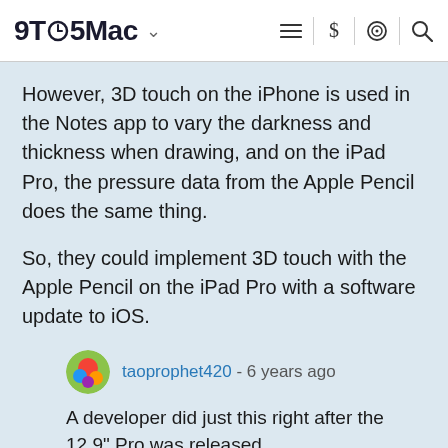9TO5Mac
However, 3D touch on the iPhone is used in the Notes app to vary the darkness and thickness when drawing, and on the iPad Pro, the pressure data from the Apple Pencil does the same thing.
So, they could implement 3D touch with the Apple Pencil on the iPad Pro with a software update to iOS.
taoprophet420 - 6 years ago
A developer did just this right after the 12.9" Pro was released.
To me the gestures of 3D Touch makes much more sense on iPads then iPhones.With the $599 entry price for the 9.7" model i think Apple should included the pencil and enabled #D touch via the